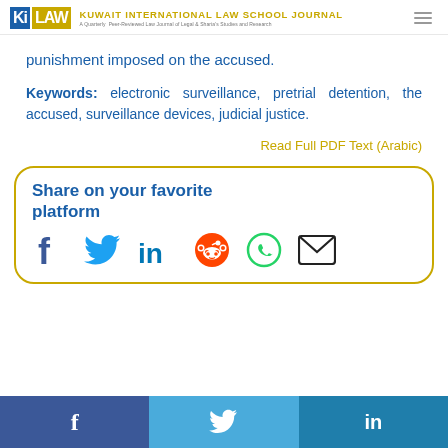KUWAIT INTERNATIONAL LAW SCHOOL JOURNAL — A Quarterly Peer-Reviewed Law Journal of Legal & Sharia's Studies and Research
punishment imposed on the accused.
Keywords: electronic surveillance, pretrial detention, the accused, surveillance devices, judicial justice.
Read Full PDF Text (Arabic)
Share on your favorite platform
Facebook | Twitter | LinkedIn